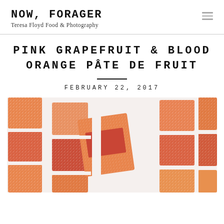NOW, FORAGER
Teresa Floyd Food & Photography
PINK GRAPEFRUIT & BLOOD ORANGE PÂTE DE FRUIT
FEBRUARY 22, 2017
[Figure (photo): Close-up photograph of pink grapefruit and blood orange pâte de fruit candy squares dusted with sugar, arranged on a white surface. The candies are orange, red, and pink colored gelatinous squares.]